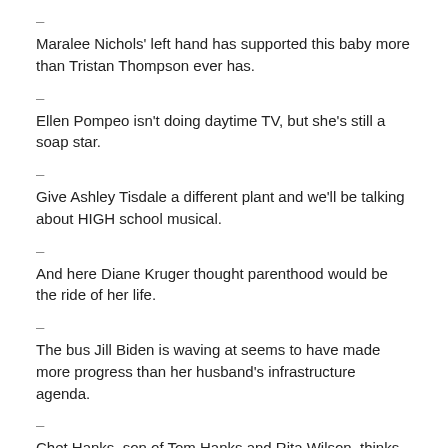– Maralee Nichols' left hand has supported this baby more than Tristan Thompson ever has.
– Ellen Pompeo isn't doing daytime TV, but she's still a soap star.
– Give Ashley Tisdale a different plant and we'll be talking about HIGH school musical.
– And here Diane Kruger thought parenthood would be the ride of her life.
– The bus Jill Biden is waving at seems to have made more progress than her husband's infrastructure agenda.
– Chet Hanks, son of Tom Hanks and Rita Wilson, thinks his childhood was a rougher ride than this.